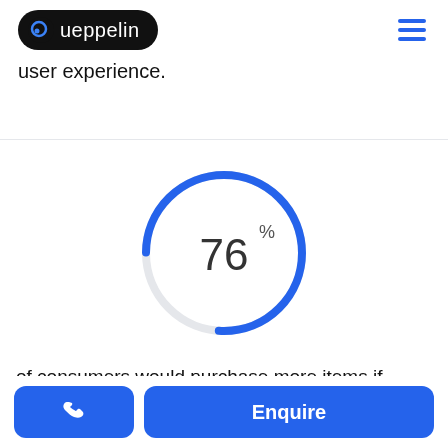Queppelin [logo] [hamburger menu]
user experience.
[Figure (donut-chart): 76%]
of consumers would purchase more items if offered a
Enquire